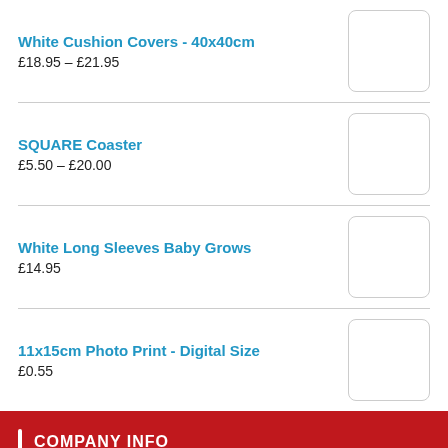White Cushion Covers - 40x40cm
£18.95 – £21.95
SQUARE Coaster
£5.50 – £20.00
White Long Sleeves Baby Grows
£14.95
11x15cm Photo Print - Digital Size
£0.55
COMPANY INFO
"The leading photo-printing shop in Gibraltar!"
We have all your photo printing needs covered.
NEW! Design & Print! Upload your favourite photos